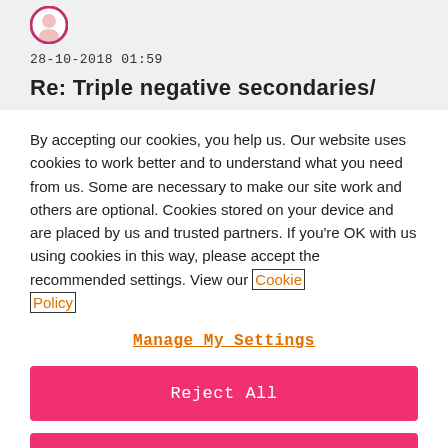[Figure (illustration): User avatar icon — circular portrait illustration with pink/magenta outline]
28-10-2018 01:59
Re: Triple negative secondaries/
By accepting our cookies, you help us. Our website uses cookies to work better and to understand what you need from us. Some are necessary to make our site work and others are optional. Cookies stored on your device and are placed by us and trusted partners. If you're OK with us using cookies in this way, please accept the recommended settings. View our Cookie Policy
Manage My Settings
Reject All
Accept All Cookies